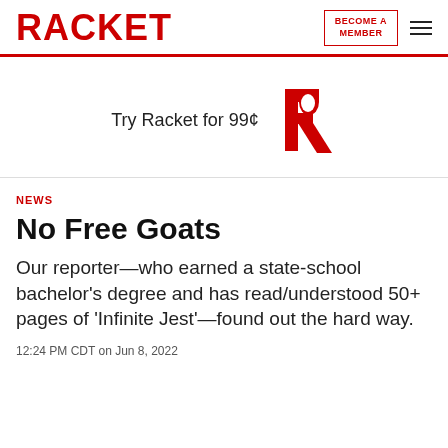RACKET | BECOME A MEMBER
[Figure (logo): Racket R logo in red with try racket for 99¢ text]
NEWS
No Free Goats
Our reporter—who earned a state-school bachelor's degree and has read/understood 50+ pages of 'Infinite Jest'—found out the hard way.
12:24 PM CDT on Jun 8, 2022